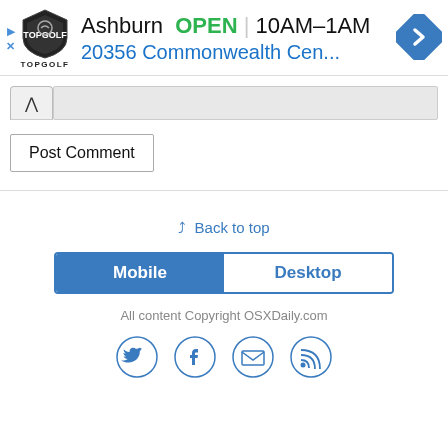[Figure (screenshot): Advertisement banner for Topgolf Ashburn showing logo, OPEN status, hours 10AM-1AM, address 20356 Commonwealth Cen..., and navigation arrow icon]
[Figure (screenshot): Comment form with collapse button (caret up), text input box, and Post Comment button]
Back to top
[Figure (screenshot): Mobile/Desktop toggle buttons with Mobile selected (blue) and Desktop unselected]
All content Copyright OSXDaily.com
[Figure (screenshot): Social media icons: Twitter, Facebook, Email, RSS]